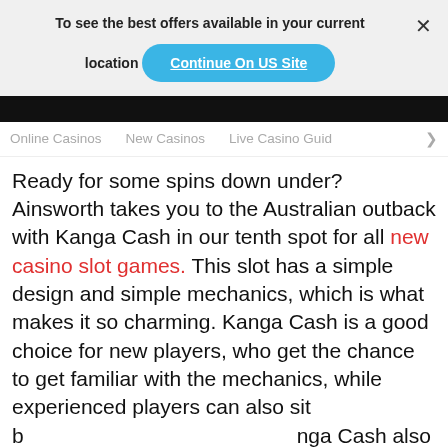To see the best offers available in your current location
Continue On US Site
Online Casinos   New Casinos   Live Casino Guid >
Ready for some spins down under? Ainsworth takes you to the Australian outback with Kanga Cash in our tenth spot for all new casino slot games. This slot has a simple design and simple mechanics, which is what makes it so charming. Kanga Cash is a good choice for new players, who get the chance to get familiar with the mechanics, while experienced players can also sit b... nga Cash also has a... ature, making it m... new slot games lis...
By continuing to use our site you agree to us using cookies in accordance with our Cookie Policy.
GOT IT